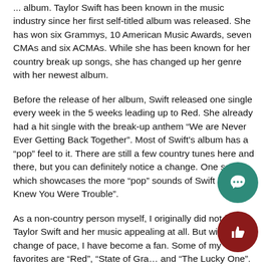... album. Taylor Swift has been known in the music industry since her first self-titled album was released. She has won six Grammys, 10 American Music Awards, seven CMAs and six ACMAs. While she has been known for her country break up songs, she has changed up her genre with her newest album.
Before the release of her album, Swift released one single every week in the 5 weeks leading up to Red. She already had a hit single with the break-up anthem “We are Never Ever Getting Back Together”. Most of Swift’s album has a “pop” feel to it. There are still a few country tunes here and there, but you can definitely notice a change. One song which showcases the more “pop” sounds of Swift is “I Knew You Were Trouble”.
As a non-country person myself, I originally did not find Taylor Swift and her music appealing at all. But with this change of pace, I have become a fan. Some of my favorites are “Red”, “State of Gra... and “The Lucky One”.
Swift has just announced the 2013 Red Tour. Opening for he... Sheeran, who has a duet with Taylor on her album called...